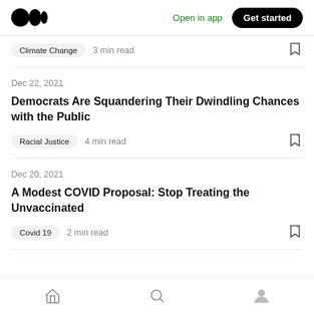Medium — Open in app  Get started
Climate Change  3 min read
Dec 22, 2021
Democrats Are Squandering Their Dwindling Chances with the Public
Racial Justice  4 min read
Dec 20, 2021
A Modest COVID Proposal: Stop Treating the Unvaccinated
Covid 19  2 min read
Home  Search  Profile